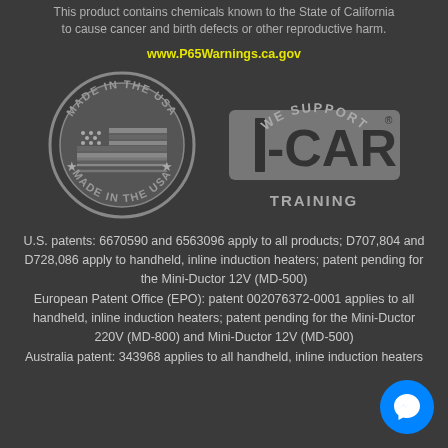This product contains chemicals known to the State of California to cause cancer and birth defects or other reproductive harm.
www.P65Warnings.ca.gov
[Figure (logo): Made in the USA circular stamp logo with American flag and stars]
[Figure (logo): I-CAR We Support Training logo]
U.S. patents: 6670590 and 6563096 apply to all products; D707,804 and D728,086 apply to handheld, inline induction heaters; patent pending for the Mini-Ductor 12V (MD-500)
European Patent Office (EPO): patent 002076372-0001 applies to all handheld, inline induction heaters; patent pending for the Mini-Ductor 220V (MD-800) and Mini-Ductor 12V (MD-500)
Australia patent: 343968 applies to all handheld, inline induction heaters